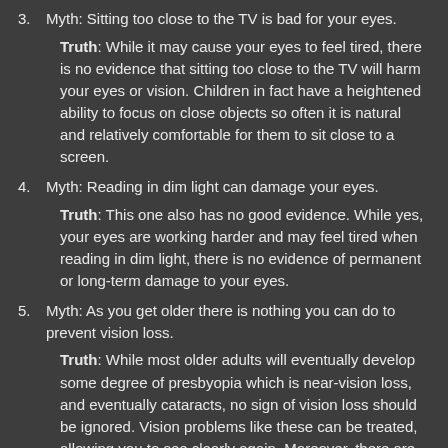3. Myth: Sitting too close to the TV is bad for your eyes.
Truth: While it may cause your eyes to feel tired, there is no evidence that sitting too close to the TV will harm your eyes or vision. Children in fact have a heightened ability to focus on close objects so often it is natural and relatively comfortable for them to sit close to a screen.
4. Myth: Reading in dim light can damage your eyes.
Truth: This one also has no good evidence. While yes, your eyes are working harder and may feel tired when reading in dim light, there is no evidence of permanent or long-term damage to your eyes.
5. Myth: As you get older there is nothing you can do to prevent vision loss.
Truth: While most older adults will eventually develop some degree of presbyopia which is near-vision loss, and eventually cataracts, no sign of vision loss should be ignored. Vision problems like these can be treated, allowing you to see clearly again. Moreover, there are many serious eye diseases such as glaucoma and macular